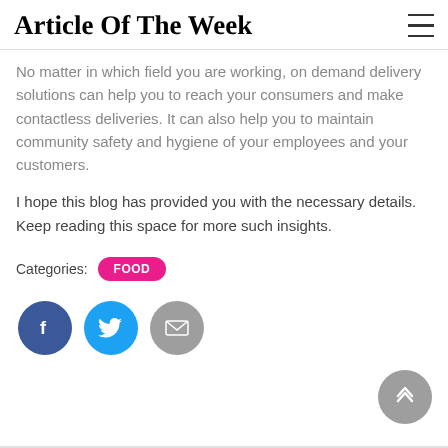Article Of The Week
No matter in which field you are working, on demand delivery solutions can help you to reach your consumers and make contactless deliveries. It can also help you to maintain community safety and hygiene of your employees and your customers.
I hope this blog has provided you with the necessary details. Keep reading this space for more such insights.
Categories: FOOD